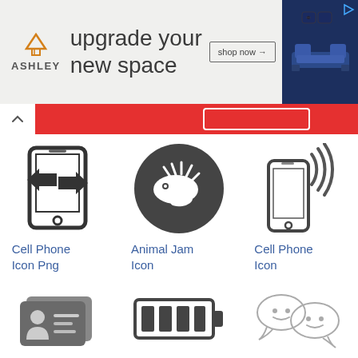[Figure (screenshot): Ashley Furniture advertisement banner: orange house logo, 'upgrade your new space' text, shop now button, sofa image, play icon]
[Figure (screenshot): Website navigation bar with red background, white chevron up arrow, red pill button]
[Figure (illustration): Cell phone with two horizontal arrows (one right, one left) indicating data transfer icon]
Cell Phone Icon Png
[Figure (illustration): Animal Jam icon: dark circle with white hedgehog/fish silhouette]
Animal Jam Icon
[Figure (illustration): Cell phone with WiFi signal waves icon]
Cell Phone Icon
[Figure (illustration): Contact/ID card icon: two overlapping gray cards with person silhouette and lines]
[Figure (illustration): Battery icon with four vertical bars (full battery)]
[Figure (illustration): Two chat bubble icons with smiley faces]